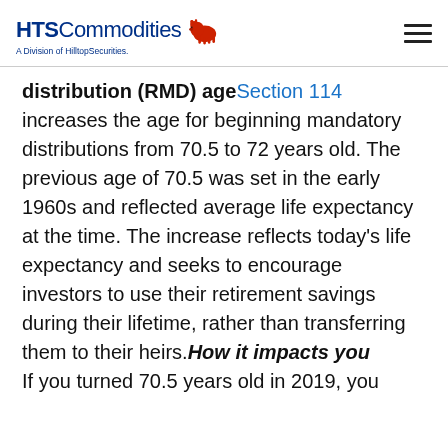HTS Commodities — A Division of HilltopSecurities
distribution (RMD) age Section 114 increases the age for beginning mandatory distributions from 70.5 to 72 years old. The previous age of 70.5 was set in the early 1960s and reflected average life expectancy at the time. The increase reflects today's life expectancy and seeks to encourage investors to use their retirement savings during their lifetime, rather than transferring them to their heirs. How it impacts you If you turned 70.5 years old in 2019, you